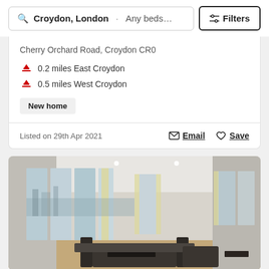🔍 Croydon, London · Any beds...  ⇌ Filters
Cherry Orchard Road, Croydon CR0
🚆 0.2 miles East Croydon
🚆 0.5 miles West Croydon
New home
Listed on 29th Apr 2021
Email
Save
[Figure (photo): Interior photo of a modern apartment living room with large floor-to-ceiling windows, city view, dark sofa set, coffee table, and light-coloured flooring]